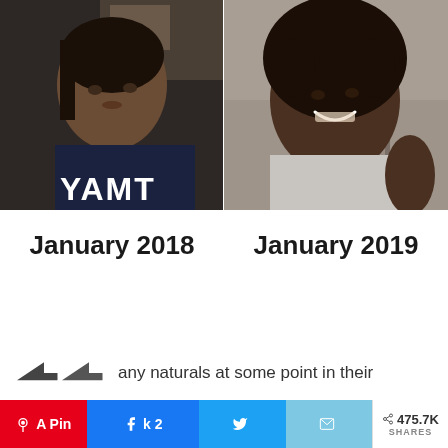[Figure (photo): Side-by-side comparison photos: left shows a young woman in a dark YAMT sweatshirt with straightened/sleek hair (January 2018); right shows same woman smiling with large natural afro hair in a grey t-shirt (January 2019)]
January 2018    January 2019
any naturals at some point in their
< 475.7K SHARES